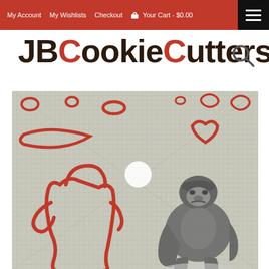My Account | My Wishlists | Checkout | Your Cart - $0.00
JBCookieCutters
[Figure (photo): Product photo showing a red plastic gorilla-shaped cookie cutter next to a gray illustration of a gorilla, placed on a graph paper background with various other red cookie cutter shapes scattered around.]